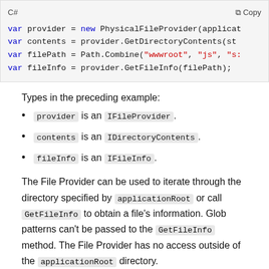[Figure (screenshot): C# code block showing var provider, contents, filePath, fileInfo assignments using PhysicalFileProvider]
Types in the preceding example:
provider is an IFileProvider.
contents is an IDirectoryContents.
fileInfo is an IFileInfo.
The File Provider can be used to iterate through the directory specified by applicationRoot or call GetFileInfo to obtain a file's information. Glob patterns can't be passed to the GetFileInfo method. The File Provider has no access outside of the applicationRoot directory.